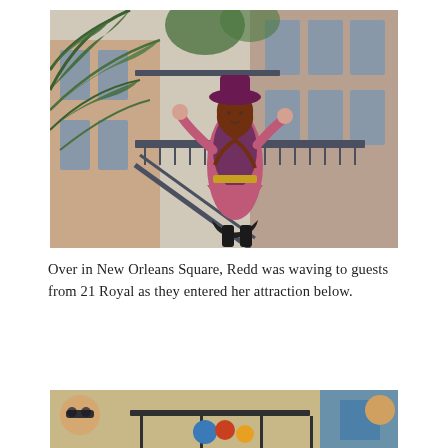[Figure (photo): A woman dressed in a pirate costume (pink and purple outfit with a large hat) standing on ornate iron staircases of a New Orleans-style building, waving to guests. Palm fronds are visible in the foreground.]
Over in New Orleans Square, Redd was waving to guests from 21 Royal as they entered her attraction below.
[Figure (photo): Bottom portion of a photo showing guests at what appears to be a theme park attraction, with colorful props visible.]